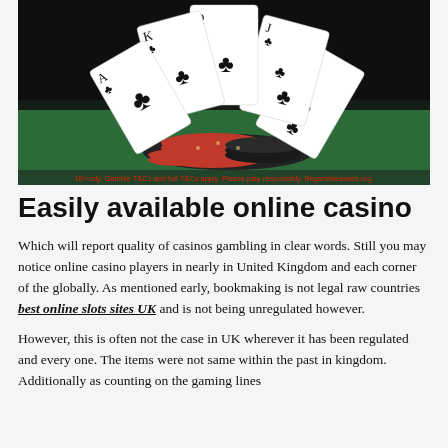[Figure (photo): A fan of playing cards (Ace, King, Queen, Jack, 10 of clubs) displayed against a dark background with a pile of red and black casino chips on a green felt surface. Red text along the bottom reads: 18+only. Gamble T&Cs and full T&Cs apply. Please play responsibly. Begambleaware.org.]
Easily available online casino
Which will report quality of casinos gambling in clear words. Still you may notice online casino players in nearly in United Kingdom and each corner of the globally. As mentioned early, bookmaking is not legal raw countries best online slots sites UK and is not being unregulated however.
However, this is often not the case in UK wherever it has been regulated and every one. The items were not same within the past in kingdom. Additionally as counting on the gaming lines